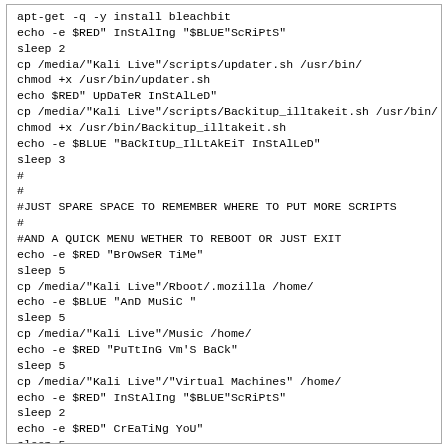apt-get -q -y install bleachbit
echo -e $RED" InStAlIng "$BLUE"ScRiPtS"
sleep 2
cp /media/"Kali Live"/scripts/updater.sh /usr/bin/
chmod +x /usr/bin/updater.sh
echo $RED" UpDaTeR InStAlLeD"
cp /media/"Kali Live"/scripts/Backitup_illtakeit.sh /usr/bin/
chmod +x /usr/bin/Backitup_illtakeit.sh
echo -e $BLUE "BaCkItUp_IlLtAkEiT InStAlLeD"
sleep 3
#
#
#JUST SPARE SPACE TO REMEMBER WHERE TO PUT MORE SCRIPTS
#
#AND A QUICK MENU WETHER TO REBOOT OR JUST EXIT
echo -e $RED "BrOwSeR TiMe"
sleep 5
cp /media/"Kali Live"/Rboot/.mozilla /home/
echo -e $BLUE "AnD MuSiC "
sleep 5
cp /media/"Kali Live"/Music /home/
echo -e $RED "PuTtInG Vm'S BaCk"
sleep 5
cp /media/"Kali Live"/"Virtual Machines" /home/
echo -e $RED" InStAlIng "$BLUE"ScRiPtS"
sleep 2
echo -e $RED" CrEaTiNg YoU"
sleep 5
echo -e $BLUE "Ok We'Ve MaDe It baCk FrOm ThE BrInK"
clear
echo -e v$BLUE "YoU NeEd To ReBoOt !?i?!?i?!?i?!?i?!"
echo
echo $RED"1."$BLUE" ReBoOt"
echo $RED"2."$BLUE"Dont TeLl Me WhAT To Do!"
read menuoption
if [$menuoption = "1"]
shutdown now
if [$menuoption = "2"]